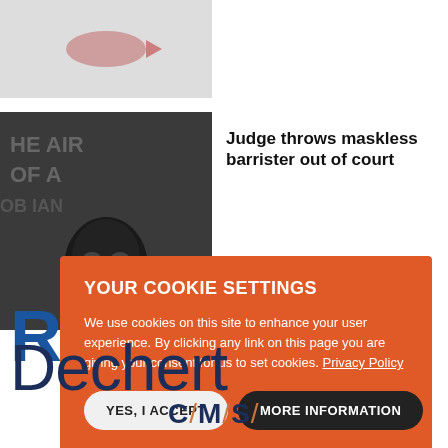[Figure (photo): Partially visible photo of fish or bird on snowy background, top-left of page]
[Figure (photo): Person wearing black mask/balaclava standing in front of a building with text on it]
Judge throws maskless barrister out of court
YOUR COOKIE SETTINGS
We use cookies on this site to enhance your user experience. By clicking any link on this page you are giving your consent for us to set cookies. Privacy Policy
YES, I ACCEPT   MORE INFORMATION
[Figure (logo): Partial blue letter R (part of a logo) visible behind cookie overlay]
[Figure (logo): Dechert law firm logo in dark navy blue, large text]
[Figure (logo): CMS logo with orange forward-slashes between letters, navy blue text]